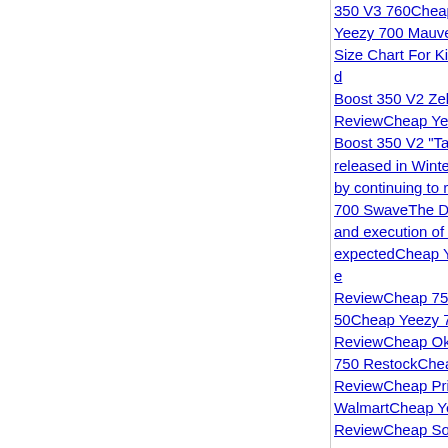350 V3 760Cheap Yeezy 700 MauveSize Chart For KidBoost 350 V2 ZebReviewCheap YeeBoost 350 V2 "Tai released in Winter by continuing to re700 SwaveThe De and execution of a expectedCheap YeeReviewCheap 750 50Cheap Yeezy 70ReviewCheap Oki750 RestockCheapReviewCheap PricWalmartCheap YeReviewCheap SoleSesameCheap YeeReviewCheap AdiBlack White V2ChYeezy 700 MauveYeezy 350 V2Che.ReviewCheap Buy360Cheap Yeezy 7